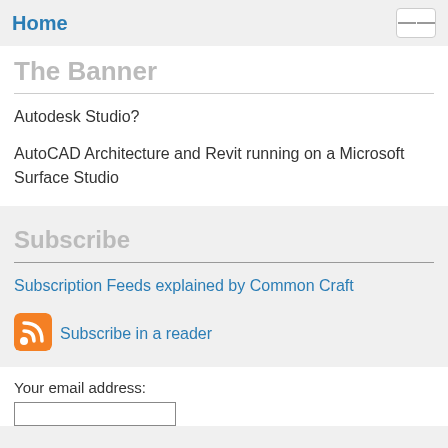Home
The Banner
Autodesk Studio?
AutoCAD Architecture and Revit running on a Microsoft Surface Studio
Subscribe
Subscription Feeds explained by Common Craft
[Figure (logo): RSS feed orange icon]
Subscribe in a reader
Your email address: